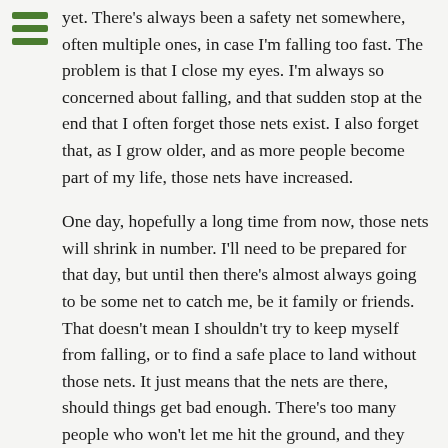[Figure (other): Hamburger menu icon with three green horizontal bars]
yet. There's always been a safety net somewhere, often multiple ones, in case I'm falling too fast. The problem is that I close my eyes. I'm always so concerned about falling, and that sudden stop at the end that I often forget those nets exist. I also forget that, as I grow older, and as more people become part of my life, those nets have increased.
One day, hopefully a long time from now, those nets will shrink in number. I'll need to be prepared for that day, but until then there's almost always going to be some net to catch me, be it family or friends. That doesn't mean I shouldn't try to keep myself from falling, or to find a safe place to land without those nets. It just means that the nets are there, should things get bad enough. There's too many people who won't let me hit the ground, and they know I'd do the same for them.
Until I land, there's just some uncertainty. I don't need to embrace that uncertainty, but I do have to accept that it's there. Uncertainty is the wind blowing past my head, and echoing in my ears. Try as one might to attach significance to it, it is just wind. Everyone hears it when they fall, and